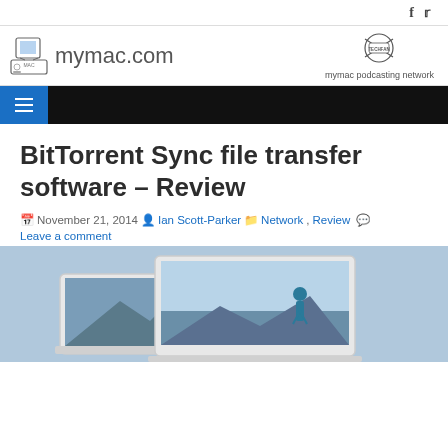f  (twitter bird icon)
[Figure (logo): mymac.com logo with Mac computer illustration and site name text]
[Figure (logo): mymac podcasting network TechFan badge logo]
[Figure (infographic): Black navigation bar with blue hamburger menu button]
BitTorrent Sync file transfer software – Review
November 21, 2014  Ian Scott-Parker  Network, Review  Leave a comment
[Figure (photo): Two laptop/tablet screens showing outdoor scenic photos with a person hiking]